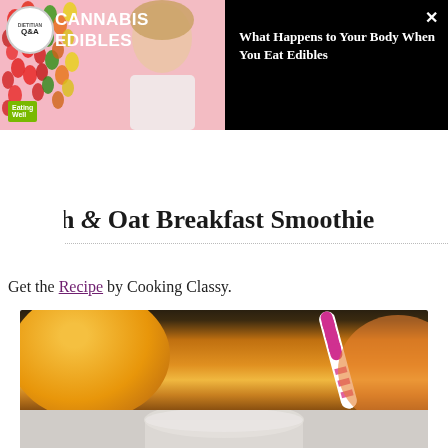[Figure (screenshot): Advertisement overlay showing 'Cannabis Edibles' with a dietitian Q&A badge, colorful gummies in background, a woman's image on the right, and EatingWell logo at bottom left. The right side of the ad on a black background reads: 'What Happens to Your Body When You Eat Edibles' with an X close button.]
Peach & Oat Breakfast Smoothie
Get the Recipe by Cooking Classy.
[Figure (photo): Close-up photo of a peach smoothie with a pink and white striped paper straw in a white cup, with a halved peach visible in the background against a dark background.]